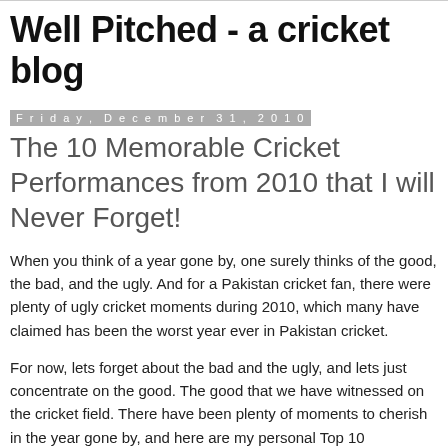Well Pitched - a cricket blog
Friday, December 31, 2010
The 10 Memorable Cricket Performances from 2010 that I will Never Forget!
When you think of a year gone by, one surely thinks of the good, the bad, and the ugly. And for a Pakistan cricket fan, there were plenty of ugly cricket moments during 2010, which many have claimed has been the worst year ever in Pakistan cricket.
For now, lets forget about the bad and the ugly, and lets just concentrate on the good. The good that we have witnessed on the cricket field. There have been plenty of moments to cherish in the year gone by, and here are my personal Top 10 performances from 2010.